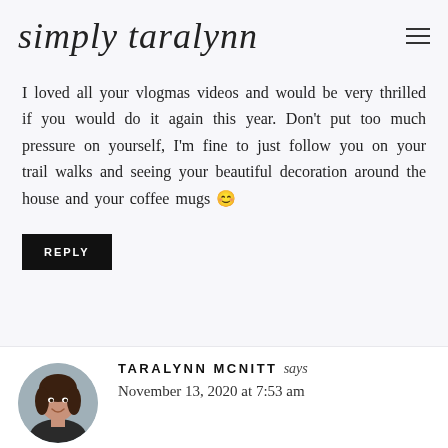simply taralynn
I loved all your vlogmas videos and would be very thrilled if you would do it again this year. Don't put too much pressure on yourself, I'm fine to just follow you on your trail walks and seeing your beautiful decoration around the house and your coffee mugs 😊
REPLY
TARALYNN MCNITT says November 13, 2020 at 7:53 am